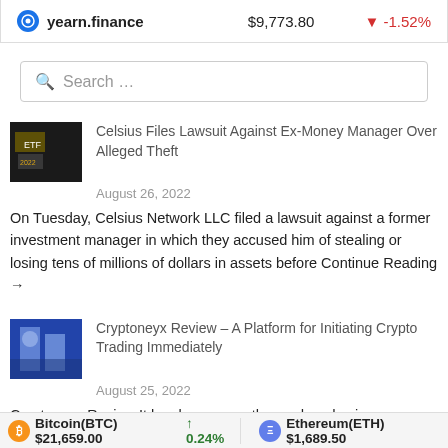| Coin | Price | Change |
| --- | --- | --- |
| yearn.finance | $9,773.80 | ▼ -1.52% |
Search ...
Celsius Files Lawsuit Against Ex-Money Manager Over Alleged Theft
August 26, 2022
On Tuesday, Celsius Network LLC filed a lawsuit against a former investment manager in which they accused him of stealing or losing tens of millions of dollars in assets before Continue Reading →
Cryptoneyx Review – A Platform for Initiating Crypto Trading Immediately
August 25, 2022
Cryptoneyx Review It has been more than a decade since cryptocurrencies became a part of the financial markets. However, even after more than 10 years' time, there is still a Continue Reading →
Bitcoin(BTC) $21,659.00 ↑ 0.24%   Ethereum(ETH) $1,689.50